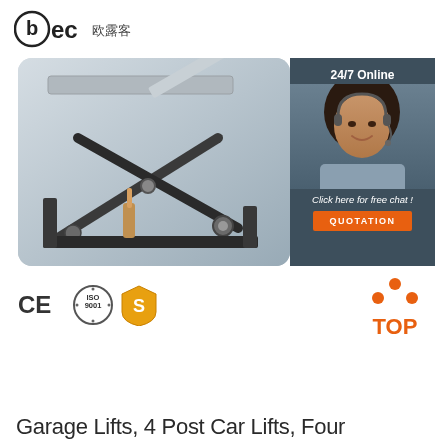[Figure (logo): BEC 欧露客 company logo with stylized 'bec' text and Chinese characters]
[Figure (photo): Close-up product photo of a four-post or scissor car lift mechanism, showing metal arms, wheels and structural components on a grey background]
[Figure (photo): Customer service chat widget with woman wearing headset and '24/7 Online', 'Click here for free chat!', and 'QUOTATION' button]
[Figure (other): CE certification mark, ISO 9001 certification mark, and Alibaba Gold Supplier shield icon]
[Figure (other): Orange TOP navigation button with upward arrow dots]
Garage Lifts, 4 Post Car Lifts, Four